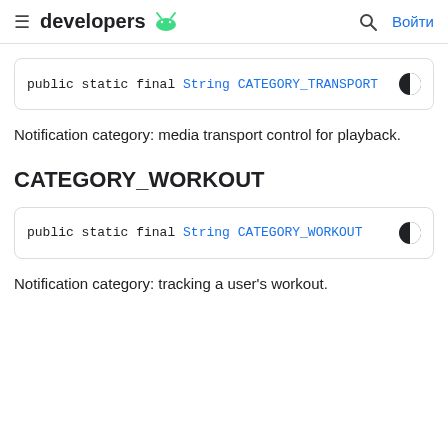developers [android logo] | [search icon] Войти
public static final String CATEGORY_TRANSPORT
Notification category: media transport control for playback.
CATEGORY_WORKOUT
public static final String CATEGORY_WORKOUT
Notification category: tracking a user's workout.